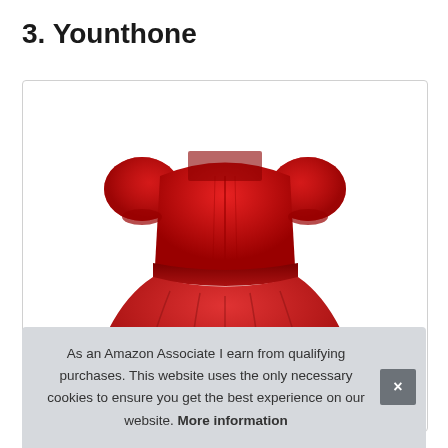3. Younthone
[Figure (photo): A red dress with puff sleeves and a square neckline, with a fitted bodice and full skirt, displayed on a white background inside a bordered card.]
As an Amazon Associate I earn from qualifying purchases. This website uses the only necessary cookies to ensure you get the best experience on our website. More information